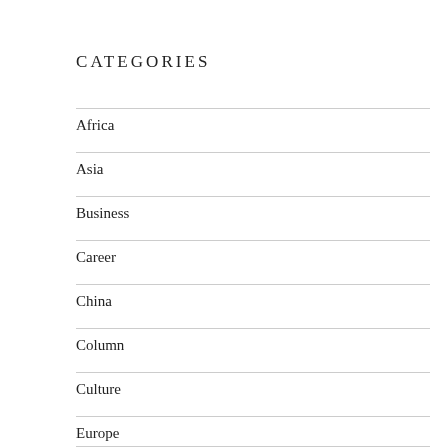CATEGORIES
Africa
Asia
Business
Career
China
Column
Culture
Europe
India